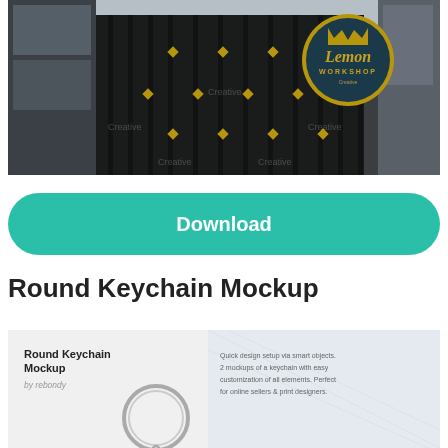[Figure (photo): Photo of an ornate black metal gate/fence with gold diamond ornamental details and a circular hanging sign reading 'Lemon Workshop Creative' with a crown graphic, against a cloudy sky and building background. Multiple watermarks visible.]
Download
Round Keychain Mockup
[Figure (screenshot): Preview card showing Round Keychain Mockup product listing with title, author 'by rebondy', a keychain ring image, and descriptive text: 'Quick design setup via smart objects. 2 mockups of a keychain with easy customization of all elements. Perfect for online sellers & print designers.']